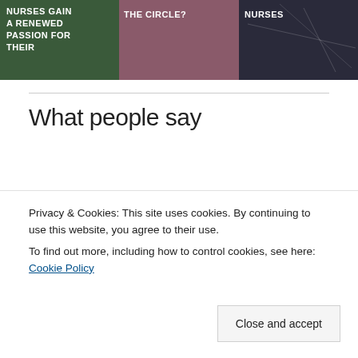[Figure (photo): Top strip image showing three panels: nurses with text 'NURSES GAIN A RENEWED PASSION FOR THEIR', a flower with text 'THE CIRCLE?', and a spiderweb with text 'NURSES']
What people say
Gathering in community reminded us of the power of the circle and helped us regain a
Privacy & Cookies: This site uses cookies. By continuing to use this website, you agree to their use.
To find out more, including how to control cookies, see here: Cookie Policy
Close and accept